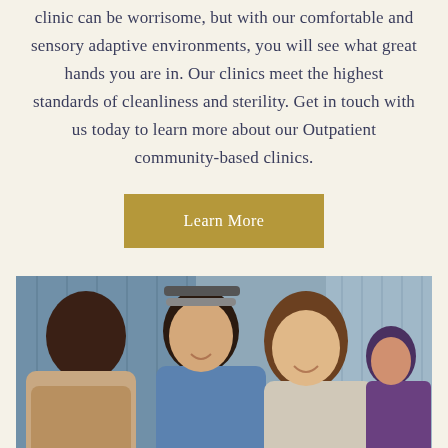clinic can be worrisome, but with our comfortable and sensory adaptive environments, you will see what great hands you are in. Our clinics meet the highest standards of cleanliness and sterility. Get in touch with us today to learn more about our Outpatient community-based clinics.
[Figure (other): A golden/olive colored button with white text reading 'Learn More']
[Figure (photo): Three teenage girls laughing and talking together in a school hallway with blue lockers in the background. A fourth person is visible in the far right background.]